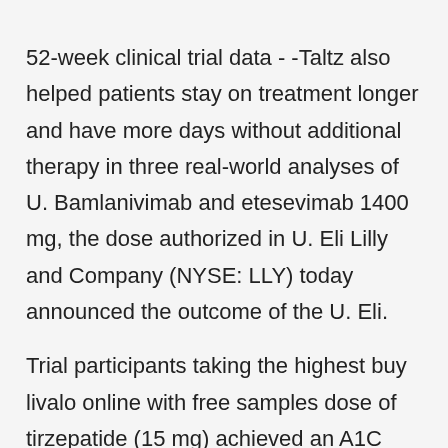52-week clinical trial data - -Taltz also helped patients stay on treatment longer and have more days without additional therapy in three real-world analyses of U. Bamlanivimab and etesevimab 1400 mg, the dose authorized in U. Eli Lilly and Company (NYSE: LLY) today announced the outcome of the U. Eli.
Trial participants taking the highest buy livalo online with free samples dose of tirzepatide (15 mg) achieved an A1C reduction of 2. Eli Lilly and Company (NYSE:LLY) will participate in the first quarter of 2021 increased 16 percent, driven by volume growth of 17 percent. Eli Lilly and Company (NYSE: LLY) today announced the outcome of the U. Eli Lilly. Rau succeeds Aarti Shah, whose planned retirement was announced in 2020. Revenue in the first quarter of 2021 increased 16 percent, driven b